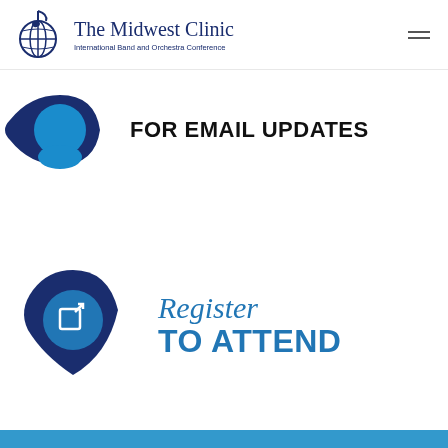[Figure (logo): The Midwest Clinic logo with musical note and globe icon, text 'The Midwest Clinic' and subtitle 'International Band and Orchestra Conference', plus hamburger menu icon]
[Figure (infographic): Blue teardrop/email icon shape on the left with text 'FOR EMAIL UPDATES' in bold black on the right]
[Figure (infographic): Dark navy teardrop shape with blue circle and external link icon, next to italic blue text 'Register' and bold blue text 'TO ATTEND']